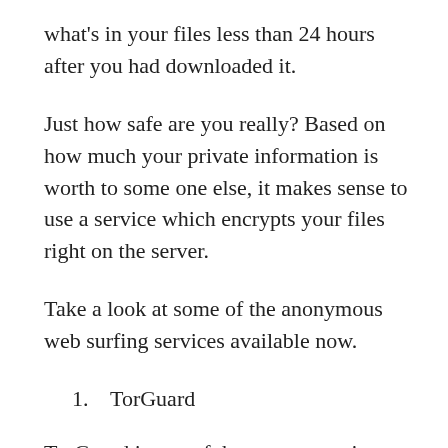what's in your files less than 24 hours after you had downloaded it.
Just how safe are you really? Based on how much your private information is worth to some one else, it makes sense to use a service which encrypts your files right on the server.
Take a look at some of the anonymous web surfing services available now.
1.  TorGuard
TorGuard is one of the newest services on the market and is still in its infancy. It offers its service to both Norwegians and non-Nigerians alike. More importantly it is free of charge and